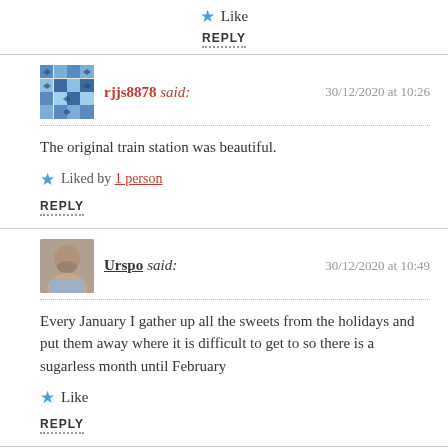Like
REPLY
rjjs8878 said: 30/12/2020 at 10:26
The original train station was beautiful.
Liked by 1 person
REPLY
Urspo said: 30/12/2020 at 10:49
Every January I gather up all the sweets from the holidays and put them away where it is difficult to get to so there is a sugarless month until February
Like
REPLY